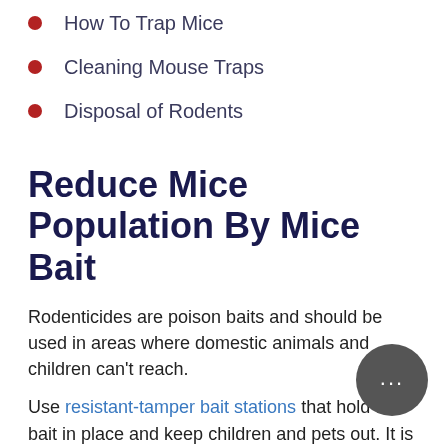How To Trap Mice
Cleaning Mouse Traps
Disposal of Rodents
Reduce Mice Population By Mice Bait
Rodenticides are poison baits and should be used in areas where domestic animals and children can't reach.
Use resistant-tamper bait stations that hold the bait in place and keep children and pets out. It is a national law and guideline to use resistant-tamper-proof bait stations in areas where children or pets could access